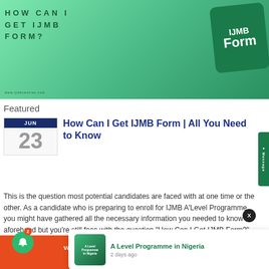[Figure (illustration): Green banner with text 'HOW CAN I GET IJMB FORM?' and 'IJMB Form' on a dark green card, with website URL www.ijmbcentres.com]
Featured
[Figure (other): Calendar date box showing JUN 23]
How Can I Get IJMB Form | All You Need to Know
This is the question most potential candidates are faced with at one time or the other. As a candidate who is preparing to enroll for IJMB A'Level Programme, you might have gathered all the necessary information you needed to know aforehand but you're still face with the question "How Can I Get IJMB Form?"
[Figure (other): Message side tab (green)]
[Figure (other): Close button X circle]
[Figure (other): Notification popup with A Level Programme in Nigeria thumbnail, title 'A Level Programme in Nigeria', time '2 days ago']
A Level Programme in Nigeria
2 days ago
vantage JUPEB 2022/2023 in a Private Centre through ALEVELS LINKS PRIME!
[Figure (other): Green bell icon with red badge showing 2]